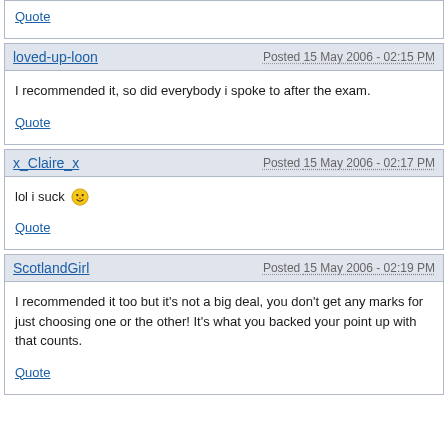Quote
loved-up-loon
Posted 15 May 2006 - 02:15 PM
I recommended it, so did everybody i spoke to after the exam.
Quote
x_Claire_x
Posted 15 May 2006 - 02:17 PM
lol i suck 😛
Quote
ScotlandGirl
Posted 15 May 2006 - 02:19 PM
I recommended it too but it's not a big deal, you don't get any marks for just choosing one or the other! It's what you backed your point up with that counts.
Quote